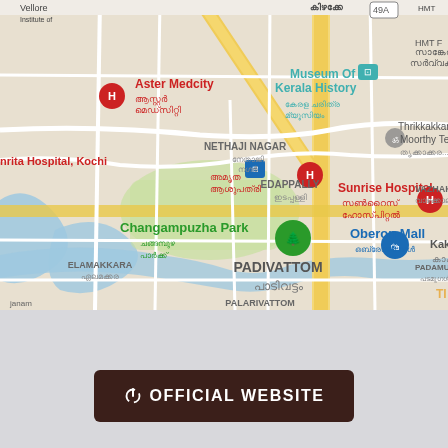[Figure (map): Google Maps screenshot showing an area in Kochi, Kerala, India. Notable landmarks include Aster Medcity hospital, Museum of Kerala History, Amrita Hospital Kochi, Sunrise Hospital, Changampuzha Park, Oberon Mall, and neighborhoods including Nethaji Nagar, Edappally, Elamakkara, Padivattom, Palarivattom, Vazhakkala, and Kakkanad. Text labels appear in both English and Malayalam.]
OFFICIAL WEBSITE